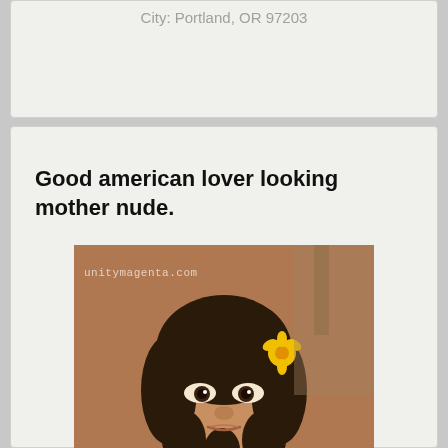City: Portland, OR 97203
Good american lover looking mother nude.
[Figure (photo): Portrait photo of a young woman with dark curly hair, a yellow flower in her hair, looking directly at the camera, holding a glass. Watermark reads unitymagenta.com]